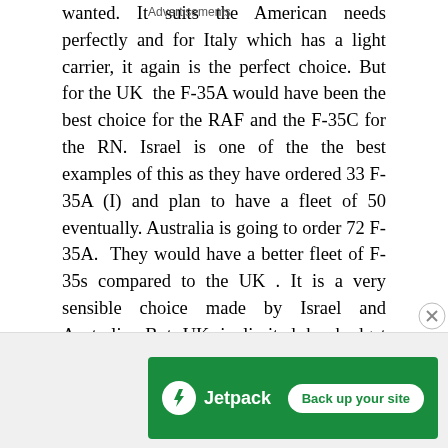wanted. It suits the American needs perfectly and for Italy which has a light carrier, it again is the perfect choice. But for the UK the F-35A would have been the best choice for the RAF and the F-35C for the RN. Israel is one of the the best examples of this as they have ordered 33 F-35A (I) and plan to have a fleet of 50 eventually. Australia is going to order 72 F-35A. They would have a better fleet of F-35s compared to the UK . It is a very sensible choice made by Israel and Australia. But UK is limited by budget constraints and the fact that they are going to base F-35s off their future carriers. That's the reason that some of the performance was sacrificed for flexibility. The F-35B however will remain as the most advanced fighter in the Royal Navy inventory
Advertisements
[Figure (other): Jetpack advertisement banner with green background, Jetpack logo on left and 'Back up your site' button on right]